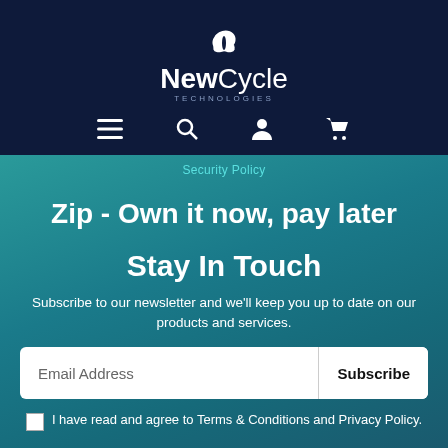[Figure (logo): NewCycle Technologies logo with white butterfly icon above the company name on dark navy background]
Security Policy
Zip - Own it now, pay later
Stay In Touch
Subscribe to our newsletter and we'll keep you up to date on our products and services.
Email Address  Subscribe
I have read and agree to Terms & Conditions and Privacy Policy.